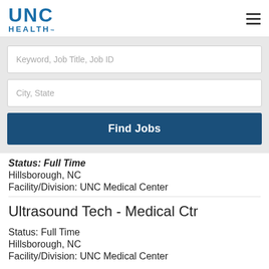UNC HEALTH
Keyword, Job Title, Job ID
City, State
Find Jobs
Status: Full Time
Hillsborough, NC
Facility/Division: UNC Medical Center
Ultrasound Tech - Medical Ctr
Status: Full Time
Hillsborough, NC
Facility/Division: UNC Medical Center